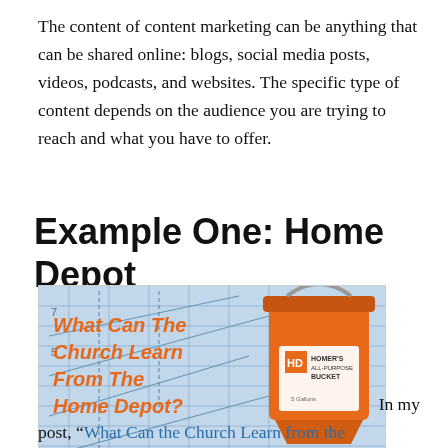The content of content marketing can be anything that can be shared online: blogs, social media posts, videos, podcasts, and websites. The specific type of content depends on the audience you are trying to reach and what you have to offer.
Example One: Home Depot
[Figure (illustration): Image showing an orange Home Depot 5-gallon bucket labeled 'Homer's All-Purpose Bucket' against a blueprint background, with orange italic text reading 'What Can The Church Learn From The Home Depot?']
In my post, “What Can the Church Learn from the